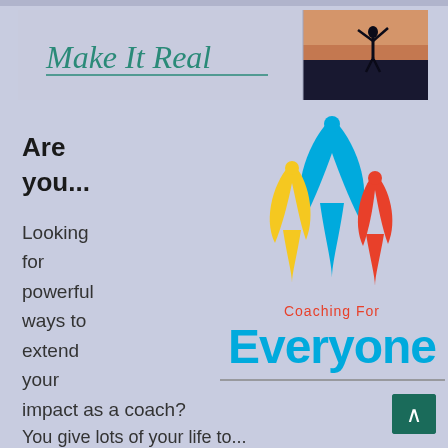[Figure (logo): Make It Real banner with cursive green text and silhouette of person with arms raised against sunset background]
Are you...
Looking for powerful ways to extend your impact as a coach?
[Figure (logo): Coaching For Everyone logo with three stylized figures in blue, yellow, and red, with text 'Coaching For' in red and 'Everyone' in large blue bold text]
You give lots of your life to...